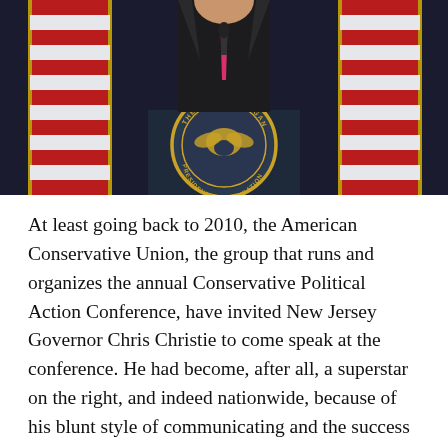[Figure (photo): A man in a dark suit with a pink tie speaking at a podium bearing the Ronald Reagan Presidential Foundation seal, flanked by American flags with gold fringe against a dark background.]
At least going back to 2010, the American Conservative Union, the group that runs and organizes the annual Conservative Political Action Conference, have invited New Jersey Governor Chris Christie to come speak at the conference. He had become, after all, a superstar on the right, and indeed nationwide, because of his blunt style of communicating and the success he'd had in beginning to turn New Jersey's budget process around after inheriting a multi-billion dollar deficit from Jon Corzine. Christie hasn't attended in the past, largely because the